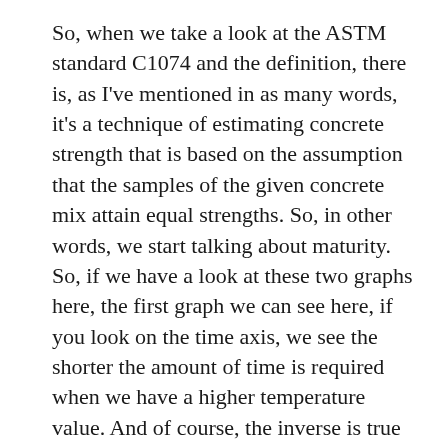So, when we take a look at the ASTM standard C1074 and the definition, there is, as I've mentioned in as many words, it's a technique of estimating concrete strength that is based on the assumption that the samples of the given concrete mix attain equal strengths. So, in other words, we start talking about maturity. So, if we have a look at these two graphs here, the first graph we can see here, if you look on the time axis, we see the shorter the amount of time is required when we have a higher temperature value. And of course, the inverse is true when our temperature value is lower; we have a longer amount of time required and that is the basic formula in which we will operate from using our maturity method.